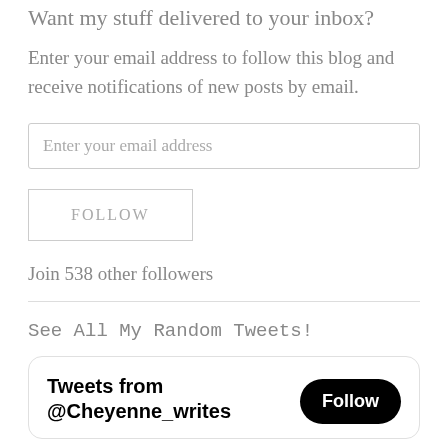Want my stuff delivered to your inbox?
Enter your email address to follow this blog and receive notifications of new posts by email.
Enter your email address
FOLLOW
Join 538 other followers
See All My Random Tweets!
[Figure (screenshot): Twitter/X widget showing 'Tweets from @Cheyenne_writes' with a Follow button]